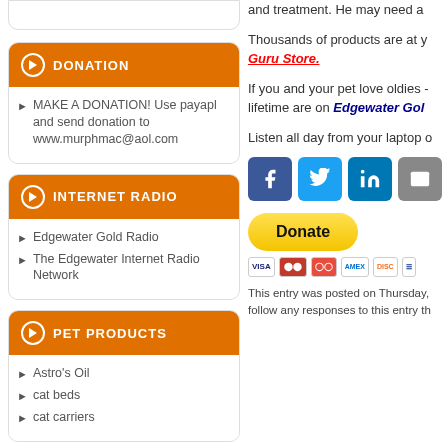and treatment. He may need a
DONATION
MAKE A DONATION! Use payapl and send donation to www.murphmac@aol.com
INTERNET RADIO
Edgewater Gold Radio
The Edgewater Internet Radio Network
PET PRODUCTS
Astro's Oil
cat beds
cat carriers
Thousands of products are at your fingertips at the Guru Store.
If you and your pet love oldies - the songs of a lifetime are on Edgewater Gold
Listen all day from your laptop o
[Figure (infographic): Social sharing icons: Facebook, Twitter, LinkedIn, Email, Green icon]
[Figure (infographic): PayPal Donate button with credit card icons: VISA, Mastercard, Maestro, AmEx, Discover]
This entry was posted on Thursday, follow any responses to this entry th